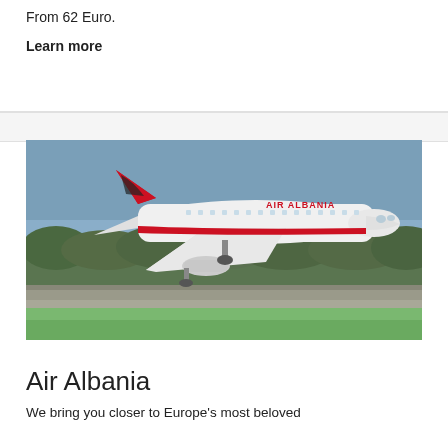Fly from Tirana to Dortmund with Balkan Air Starting From 62 Euro.
Learn more
[Figure (photo): Air Albania Airbus A320 aircraft on the tarmac/runway, white livery with red tail featuring a black eagle logo, 'AIR ALBANIA' lettering on fuselage, trees and runway visible in background]
Air Albania
We bring you closer to Europe's most beloved